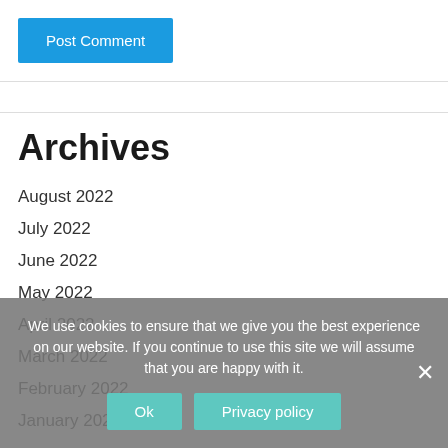Post Comment
Archives
August 2022
July 2022
June 2022
May 2022
April 2022
March 2022
February 2022
January 2022
We use cookies to ensure that we give you the best experience on our website. If you continue to use this site we will assume that you are happy with it.
Ok
Privacy policy